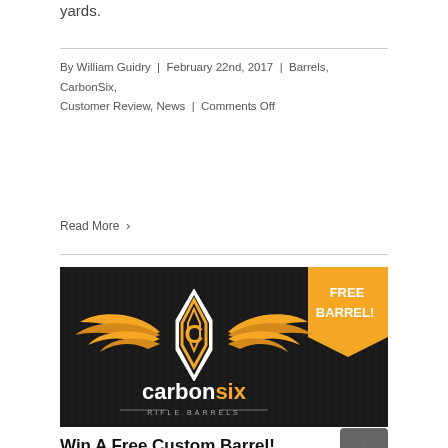yards.
By William Guidry | February 22nd, 2017 | Barrels, CarbonSix, Customer Review, News | Comments Off
Read More >
[Figure (logo): CarbonSix Rifle Barrels banner with winged hexagon logo on black background, orange 'FREE BARREL!' badge in top right corner]
Win A Free Custom Barrel!